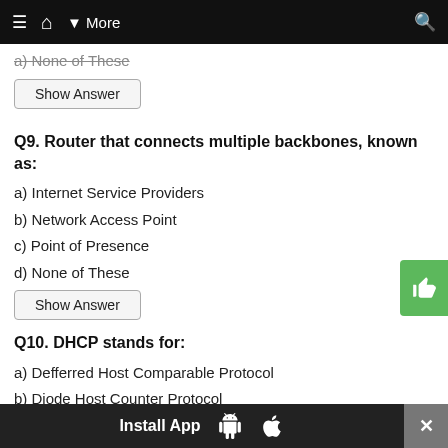≡  🏠  ▾ More   🔍
a) None of These (strikethrough, truncated)
Show Answer
Q9. Router that connects multiple backbones, known as:
a) Internet Service Providers
b) Network Access Point
c) Point of Presence
d) None of These
Show Answer
Q10. DHCP stands for:
a) Defferred Host Comparable Protocol
b) Diode Host Counter Protocol
c) Dynamic Host Configuration Protocol
Install App  [Android] [Apple]  ✕